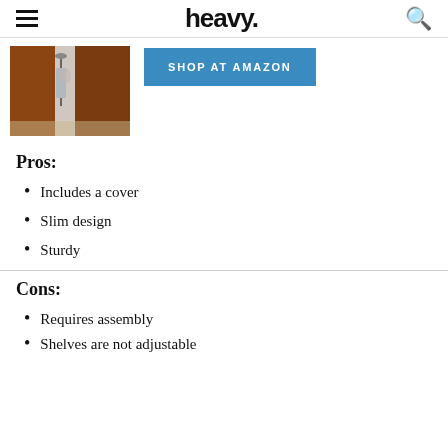heavy.
[Figure (photo): Product photo of a wardrobe/closet organizer with brown panels and a hanging rack visible]
SHOP AT AMAZON
Pros:
Includes a cover
Slim design
Sturdy
Cons:
Requires assembly
Shelves are not adjustable